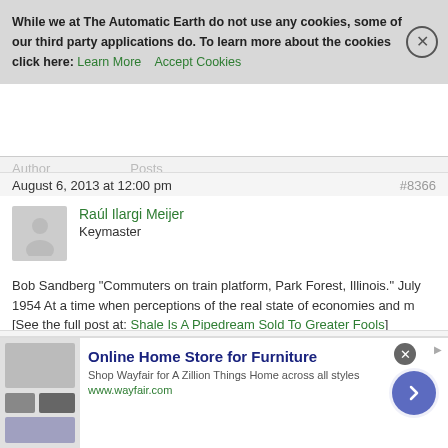Viewing 30 posts - 1 through 30 (of 30 total)
While we at The Automatic Earth do not use any cookies, some of our third party applications do. To learn more about the cookies click here: Learn More  Accept Cookies
Author  Posts
August 6, 2013 at 12:00 pm  #8366
Raúl Ilargi Meijer
Keymaster
Bob Sandberg "Commuters on train platform, Park Forest, Illinois." July 1954 At a time when perceptions of the real state of economies and m [See the full post at: Shale Is A Pipedream Sold To Greater Fools]
August 6, 2013 at 7:07 pm  #8089
Golden Oxen
Participant
[Figure (screenshot): Ad banner for Wayfair Online Home Store for Furniture with product image and arrow button]